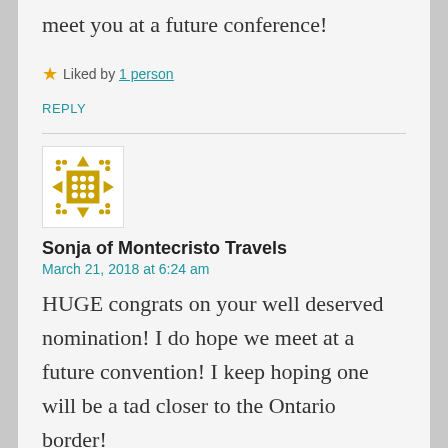meet you at a future conference!
★ Liked by 1 person
REPLY
[Figure (illustration): Gold/yellow geometric avatar icon with arrows and diamond shapes]
Sonja of Montecristo Travels
March 21, 2018 at 6:24 am
HUGE congrats on your well deserved nomination! I do hope we meet at a future convention! I keep hoping one will be a tad closer to the Ontario border!